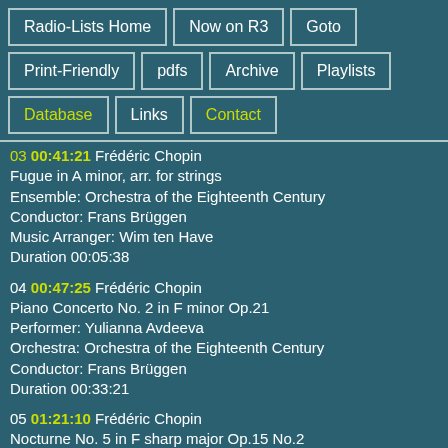Radio-Lists Home
Now on R3
Goto
Print-Friendly
pdfs
Archive
Playlists
Database
Links
Contact
03 00:41:21 Frédéric Chopin
Fugue in A minor, arr. for strings
Ensemble: Orchestra of the Eighteenth Century
Conductor: Frans Brüggen
Music Arranger: Wim ten Have
Duration 00:05:38
04 00:47:25 Frédéric Chopin
Piano Concerto No. 2 in F minor Op.21
Performer: Yulianna Avdeeva
Orchestra: Orchestra of the Eighteenth Century
Conductor: Frans Brüggen
Duration 00:33:21
05 01:21:10 Frédéric Chopin
Nocturne No. 5 in F sharp major Op.15 No.2
Performer: Yulianna Avdeeva